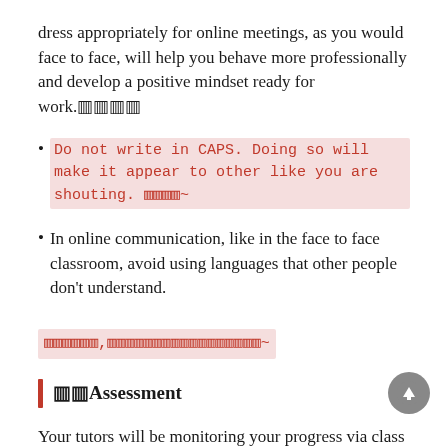dress appropriately for online meetings, as you would face to face, will help you behave more professionally and develop a positive mindset ready for work. 🟥🟥🟥🟥
Do not write in CAPS. Doing so will make it appear to other like you are shouting. 🟥🟥🟥🟥~
In online communication, like in the face to face classroom, avoid using languages that other people don't understand.
🟥🟥🟥🟥🟥🟥,🟥🟥🟥🟥🟥🟥🟥🟥🟥🟥🟥🟥🟥🟥🟥🟥🟥~
🟥🟥Assessment
Your tutors will be monitoring your progress via class work, small take-in tasks and observation of your participation in class tasks.